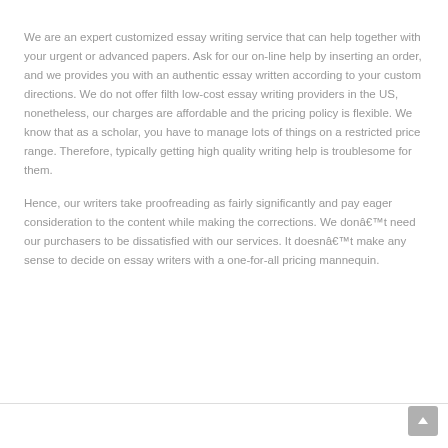We are an expert customized essay writing service that can help together with your urgent or advanced papers. Ask for our on-line help by inserting an order, and we provides you with an authentic essay written according to your custom directions. We do not offer filth low-cost essay writing providers in the US, nonetheless, our charges are affordable and the pricing policy is flexible. We know that as a scholar, you have to manage lots of things on a restricted price range. Therefore, typically getting high quality writing help is troublesome for them.
Hence, our writers take proofreading as fairly significantly and pay eager consideration to the content while making the corrections. We donât need our purchasers to be dissatisfied with our services. It doesnât make any sense to decide on essay writers with a one-for-all pricing mannequin.